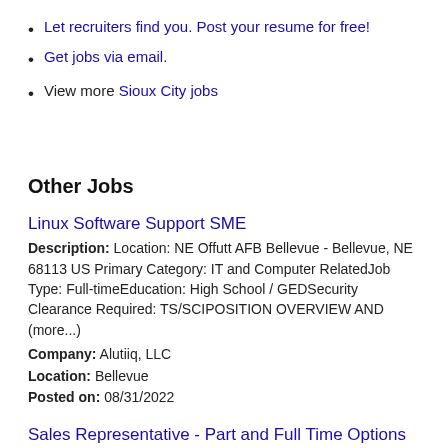Let recruiters find you. Post your resume for free!
Get jobs via email.
View more Sioux City jobs
Other Jobs
Linux Software Support SME
Description: Location: NE Offutt AFB Bellevue - Bellevue, NE 68113 US Primary Category: IT and Computer RelatedJob Type: Full-timeEducation: High School / GEDSecurity Clearance Required: TS/SCIPOSITION OVERVIEW AND (more...)
Company: Alutiiq, LLC
Location: Bellevue
Posted on: 08/31/2022
Sales Representative - Part and Full Time Options